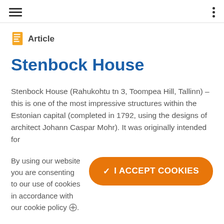navigation header with hamburger menu and dots menu
Article
Stenbock House
Stenbock House (Rahukohtu tn 3, Toompea Hill, Tallinn) – this is one of the most impressive structures within the Estonian capital (completed in 1792, using the designs of architect Johann Caspar Mohr). It was originally intended for
By using our website you are consenting to our use of cookies in accordance with our cookie policy.